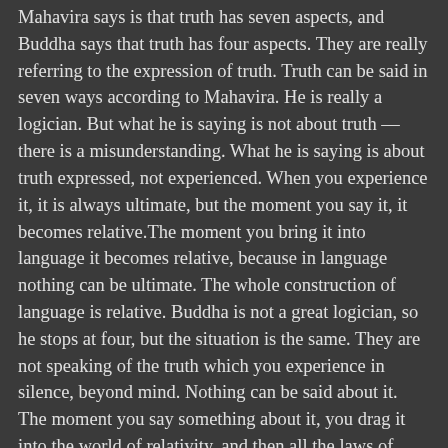Mahavira says is that truth has seven aspects, and Buddha says that truth has four aspects. They are really referring to the expression of truth. Truth can be said in seven ways according to Mahavira. He is really a logician. But what he is saying is not about truth — there is a misunderstanding. What he is saying is about truth expressed, not experienced. When you experience it, it is always ultimate, but the moment you say it, it becomes relative.The moment you bring it into language it becomes relative, because in language nothing can be ultimate. The whole construction of language is relative. Buddha is not a great logician, so he stops at four, but the situation is the same. They are not speaking of the truth which you experience in silence, beyond mind. Nothing can be said about it. The moment you say something about it, you drag it into the world of relativity, and then all the laws of relativity will be applicable to it.
8. Mahavira was so deeply rooted in the attitude of being multidimensional that he was the first man in the whole